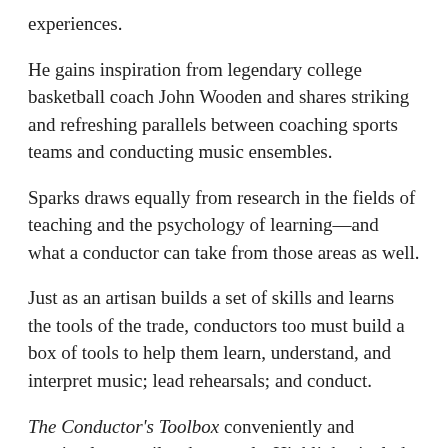experiences.
He gains inspiration from legendary college basketball coach John Wooden and shares striking and refreshing parallels between coaching sports teams and conducting music ensembles.
Sparks draws equally from research in the fields of teaching and the psychology of learning—and what a conductor can take from those areas as well.
Just as an artisan builds a set of skills and learns the tools of the trade, conductors too must build a box of tools to help them learn, understand, and interpret music; lead rehearsals; and conduct.
The Conductor's Toolbox conveniently and succinctly compiles these tools. Highlights include:
A conductor self-evaluation checklist...